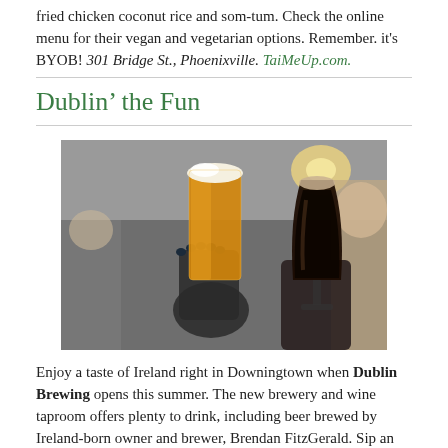fried chicken coconut rice and som-tum. Check the online menu for their vegan and vegetarian options. Remember. it's BYOB! 301 Bridge St., Phoenixville. TaiMeUp.com.
Dublin' the Fun
[Figure (photo): Two hands holding glasses of beer (one golden/amber IPA and one dark stout) raised as if toasting in a brewery or bar setting.]
Enjoy a taste of Ireland right in Downingtown when Dublin Brewing opens this summer. The new brewery and wine taproom offers plenty to drink, including beer brewed by Ireland-born owner and brewer, Brendan FitzGerald. Sip an Irish dry stout, IPA, red ale,